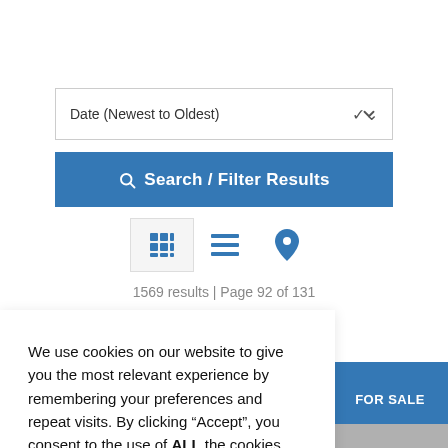Date (Newest to Oldest)
Search / Filter Results
1569 results | Page 92 of 131
We use cookies on our website to give you the most relevant experience by remembering your preferences and repeat visits. By clicking “Accept”, you consent to the use of ALL the cookies.
Cookie settings
ACCEPT
FOR SALE